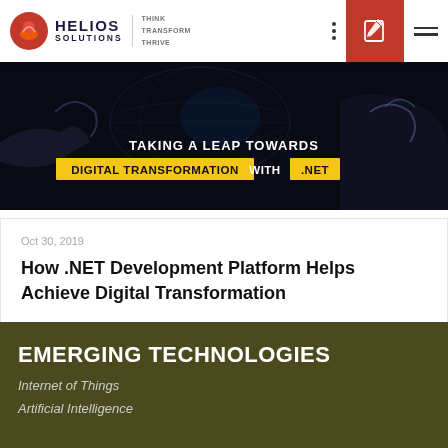HELIOS SOLUTIONS — THINK TRANSFORM THRIVE
[Figure (illustration): Dark banner image showing robotic and human hands interacting with a digital interface/globe, with text overlay: TAKING A LEAP TOWARDS DIGITAL TRANSFORMATION WITH .NET]
Oct 30, 2019
How .NET Development Platform Helps Achieve Digital Transformation
EMERGING TECHNOLOGIES
Internet of Things
Artificial Intelligence